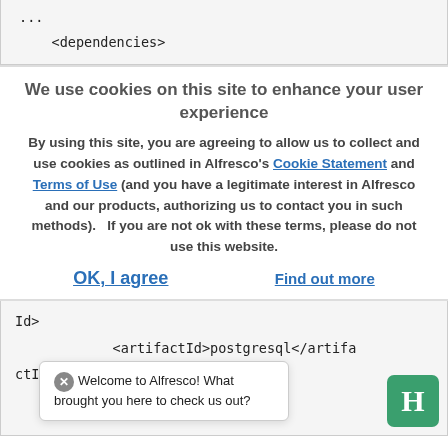...
<dependencies>
We use cookies on this site to enhance your user experience
By using this site, you are agreeing to allow us to collect and use cookies as outlined in Alfresco's Cookie Statement and Terms of Use (and you have a legitimate interest in Alfresco and our products, authorizing us to contact you in such methods).   If you are not ok with these terms, please do not use this website.
OK, I agree   Find out more
Id>
            <artifactId>postgresql</artifa
ctId>
Welcome to Alfresco! What brought you here to check us out?